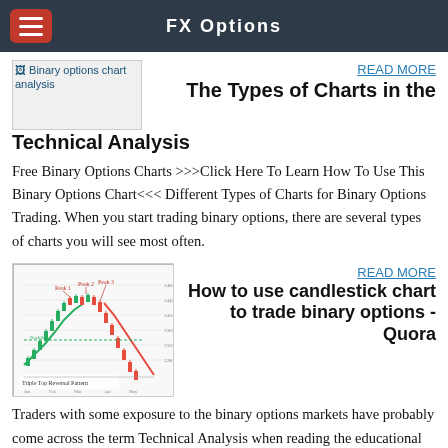FX Options
[Figure (screenshot): Binary options chart analysis image placeholder (broken image with alt text)]
READ MORE
The Types of Charts in the Technical Analysis
Free Binary Options Charts >>>Click Here To Learn How To Use This Binary Options Chart<<< Different Types of Charts for Binary Options Trading. When you start trading binary options, there are several types of charts you will see most often.
[Figure (screenshot): Candlestick chart showing Triple Top Reversal Pattern with red and green candlesticks and trend lines]
READ MORE
How to use candlestick chart to trade binary options - Quora
Traders with some exposure to the binary options markets have probably come across the term Technical Analysis when reading the educational materials offered by brokers. Many new traders, however, are surprised when they hear that binary options